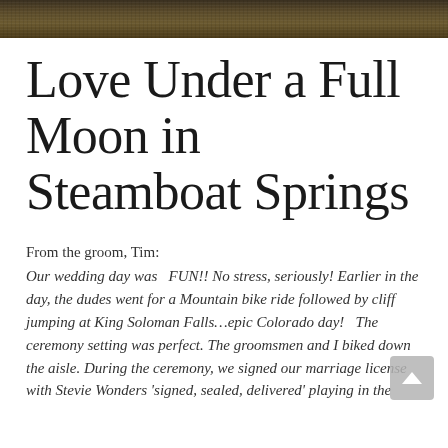[Figure (photo): Dark outdoor photo banner showing grass or foliage texture, serves as decorative header image strip]
Love Under a Full Moon in Steamboat Springs
From the groom, Tim:
Our wedding day was  FUN!! No stress, seriously! Earlier in the day, the dudes went for a Mountain bike ride followed by cliff jumping at King Soloman Falls…epic Colorado day!  The ceremony setting was perfect. The groomsmen and I biked down the aisle. During the ceremony, we signed our marriage license with Stevie Wonders 'signed, sealed, delivered' playing in the